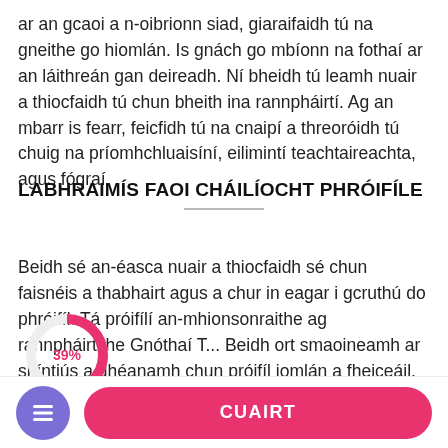ar an gcaoi a n-oibrionn siad, giaraifaidh tú na gneithe go hiomlán. Is gnách go mbíonn na fothaí ar an láithreán gan deireadh. Ní bheidh tú leamh nuair a thiocfaidh tú chun bheith ina rannpháirtí. Ag an mbarr is fearr, feicfidh tú na cnaipí a threoróidh tú chuig na príomhchluaisíní, eilimintí teachtaireachta, agus fógraí.
LABHRAIMÍS FAOI CHÁILÍOCHT PHRÓIFÍLE
Beidh sé an-éasca nuair a thiocfaidh sé chun faisnéis a thabhairt agus a chur in eagar i gcruthú do phróifíl. Tá próifílí an-mhionsonraithe ag rannpháirtithe Gnóthaí T... Beidh ort smaoineamh ar shíntiús a dhéanamh chun próifíl iomlán a fheiceáil. Bhí físeáin lánfhada agus fiú pictiúir lánmhéide i gceist dóibh siúd a bhain
[Figure (donut-chart): Partial donut chart showing 39% in red/pink on white background]
CUAIRT